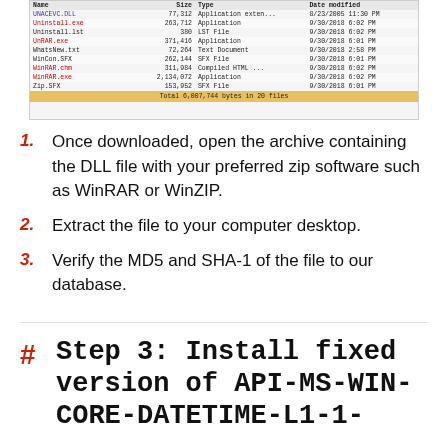[Figure (screenshot): Windows file explorer showing WinRAR installation files including UNACEVC.DLL, Uninstall.exe, Uninstall.lst, UnRAR.exe, WhatsNew.txt, WinCon.SFX, WinRAR.chm, WinRAR.exe, Zip.SFX with sizes and dates. Footer shows Total 6,007,744 bytes in 20 files.]
Once downloaded, open the archive containing the DLL file with your preferred zip software such as WinRAR or WinZIP.
Extract the file to your computer desktop.
Verify the MD5 and SHA-1 of the file to our database.
Step 3: Install fixed version of API-MS-WIN-CORE-DATETIME-L1-1-